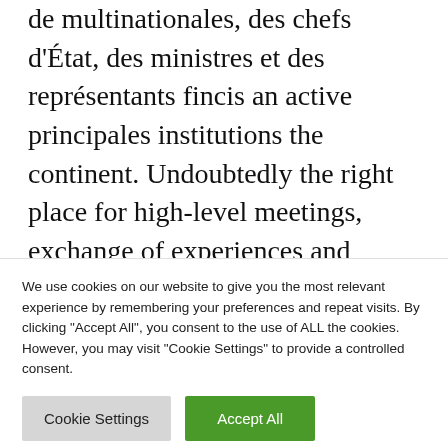de multinationales, des chefs d'État, des ministres et des représentants fincis an active principales institutions the continent. Undoubtedly the right place for high-level meetings, exchange of experiences and deciphering trends affecting the business world, the Africa CEO Forum offers concrete and innovative solutions to help companies on the continent move forward. Fondé en 2012, l'AFRICA CEO FORUM est la plateforme de référence des dirigeants des plus…
We use cookies on our website to give you the most relevant experience by remembering your preferences and repeat visits. By clicking "Accept All", you consent to the use of ALL the cookies. However, you may visit "Cookie Settings" to provide a controlled consent.